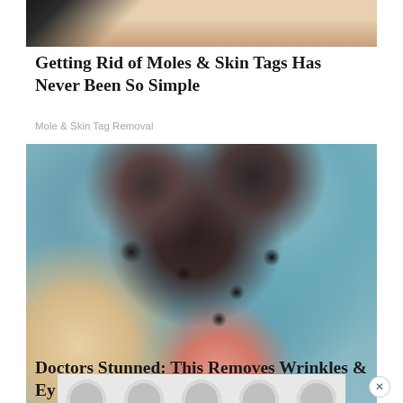[Figure (photo): Partial view of a woman's lower face and hand holding something, cropped at top]
Getting Rid of Moles & Skin Tags Has Never Been So Simple
Mole & Skin Tag Removal
[Figure (photo): Woman with blue-grey clay face mask being peeled off, looking at camera with wide eyes]
Doctors Stunned: This Removes Wrinkles & Ey...
[Figure (other): Advertisement overlay with grey bubble pattern and X close button]